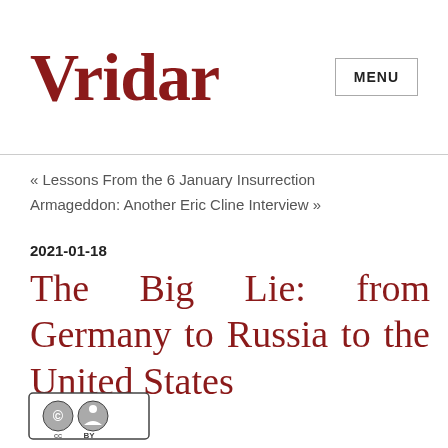Vridar
« Lessons From the 6 January Insurrection
Armageddon: Another Eric Cline Interview »
2021-01-18
The Big Lie: from Germany to Russia to the United States
[Figure (logo): Creative Commons BY license logo]